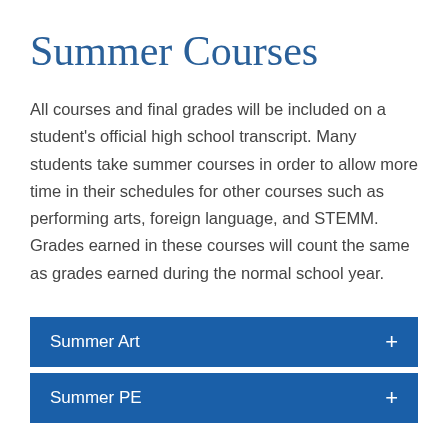Summer Courses
All courses and final grades will be included on a student's official high school transcript. Many students take summer courses in order to allow more time in their schedules for other courses such as performing arts, foreign language, and STEMM. Grades earned in these courses will count the same as grades earned during the normal school year.
Summer Art
Summer PE